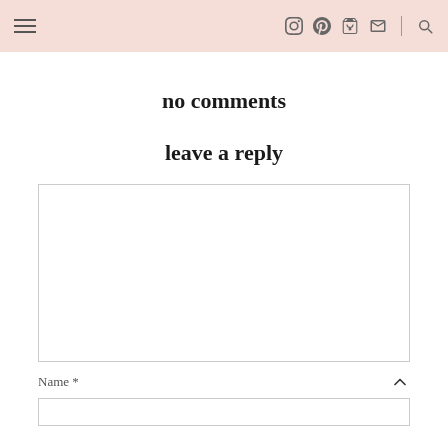Navigation header with hamburger menu and icons: Instagram, Pinterest, cart, email, search
no comments
leave a reply
[Comment text area]
Name *
[Name input field]